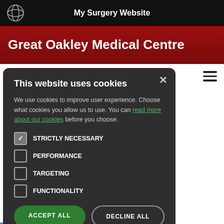My Surgery Website
Great Oakley Medical Centre
This website uses cookies
We use cookies to improve user experience. Choose what cookies you allow us to use. You can read more about our cookies before you choose.
STRICTLY NECESSARY
PERFORMANCE
TARGETING
FUNCTIONALITY
ACCEPT ALL
DECLINE ALL